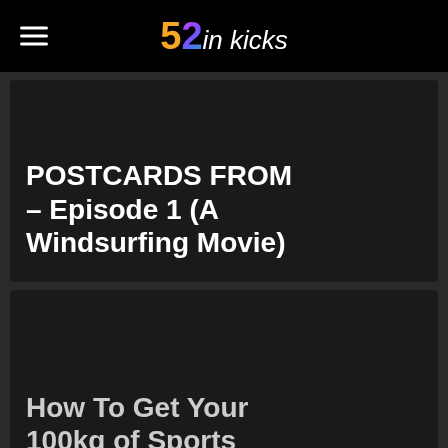52 in kicks
POSTCARDS FROM – Episode 1 (A Windsurfing Movie)
How To Get Your 100kg of Sports